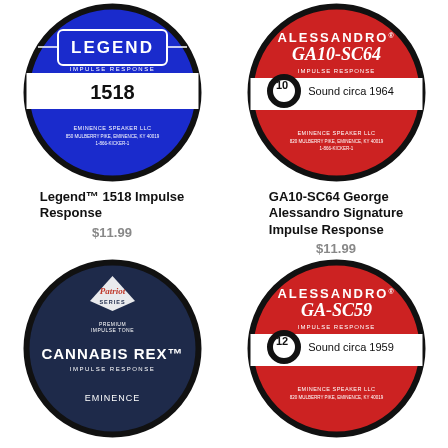[Figure (illustration): Circular speaker label for Legend 1518 Impulse Response - blue/white design with LEGEND branding and number 1518]
Legend™ 1518 Impulse Response
$11.99
[Figure (illustration): Circular speaker label for Alessandro GA10-SC64 Impulse Response - red/white design with 10 inch Sound circa 1964]
GA10-SC64 George Alessandro Signature Impulse Response
$11.99
[Figure (illustration): Circular speaker label for Cannabis Rex Patriot Series Impulse Response - dark navy design]
[Figure (illustration): Circular speaker label for Alessandro GA-SC59 Impulse Response - red/white design with 12 inch Sound circa 1959]